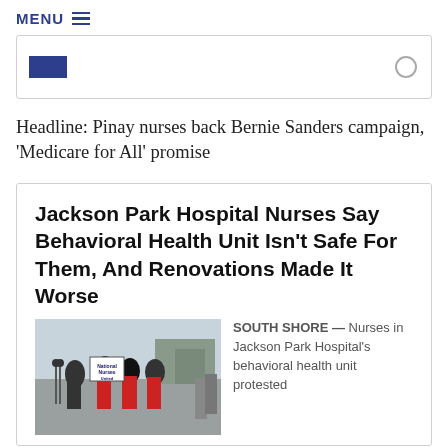MENU ☰
[Figure (screenshot): Partial card with dark blue rectangle and circle icon on top right]
Headline: Pinay nurses back Bernie Sanders campaign, ‘Medicare for All’ promise
Jackson Park Hospital Nurses Say Behavioral Health Unit Isn’t Safe For Them, And Renovations Made It Worse
[Figure (photo): Photo of nurses holding National Nurses United signs at an outdoor protest]
SOUTH SHORE — Nurses in Jackson Park Hospital’s behavioral health unit protested